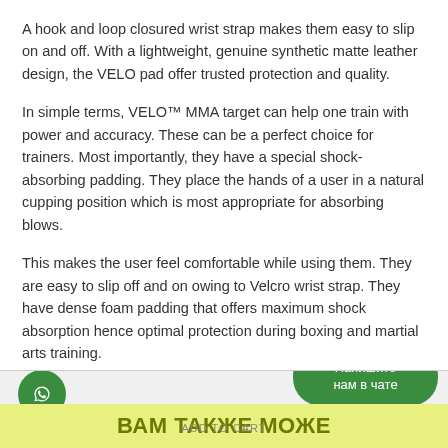A hook and loop closured wrist strap makes them easy to slip on and off. With a lightweight, genuine synthetic matte leather design, the VELO pad offer trusted protection and quality.
In simple terms, VELO™ MMA target can help one train with power and accuracy. These can be a perfect choice for trainers. Most importantly, they have a special shock-absorbing padding. They place the hands of a user in a natural cupping position which is most appropriate for absorbing blows.
This makes the user feel comfortable while using them. They are easy to slip off and on owing to Velcro wrist strap. They have dense foam padding that offers maximum shock absorption hence optimal protection during boxing and martial arts training.
[Figure (other): Green WhatsApp button with Russian text 'Напишите нам в чате' (Write to us in chat), a green circular WhatsApp icon, and a yellow banner with Cyrillic text 'ВАМ ТАКЖЕ МОЖЕТ ПОНРАВИТЬСЯ' with 'ADD TO CART' overlay text]